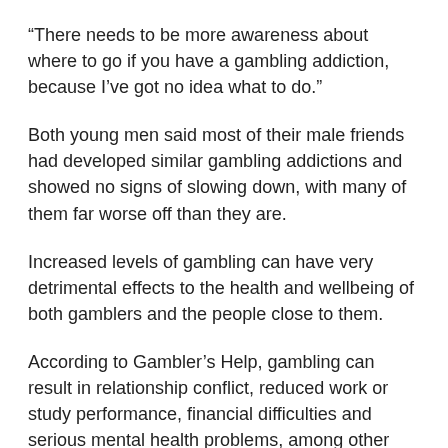“There needs to be more awareness about where to go if you have a gambling addiction, because I’ve got no idea what to do.”
Both young men said most of their male friends had developed similar gambling addictions and showed no signs of slowing down, with many of them far worse off than they are.
Increased levels of gambling can have very detrimental effects to the health and wellbeing of both gamblers and the people close to them.
According to Gambler’s Help, gambling can result in relationship conflict, reduced work or study performance, financial difficulties and serious mental health problems, among other issues.